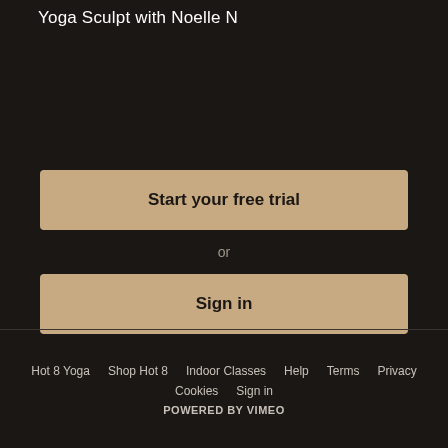Yoga Sculpt with Noelle N
Start your free trial
or
Sign in
Hot 8 Yoga   Shop Hot 8   Indoor Classes   Help   Terms   Privacy   Cookies   Sign in   POWERED BY VIMEO